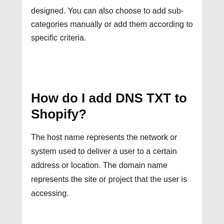designed. You can also choose to add sub-categories manually or add them according to specific criteria.
How do I add DNS TXT to Shopify?
The host name represents the network or system used to deliver a user to a certain address or location. The domain name represents the site or project that the user is accessing.